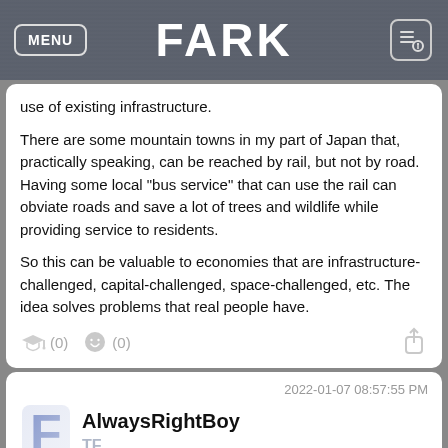MENU | FARK
use of existing infrastructure.

There are some mountain towns in my part of Japan that, practically speaking, can be reached by rail, but not by road. Having some local "bus service" that can use the rail can obviate roads and save a lot of trees and wildlife while providing service to residents.

So this can be valuable to economies that are infrastructure-challenged, capital-challenged, space-challenged, etc. The idea solves problems that real people have.
2022-01-07 08:57:55 PM
AlwaysRightBoy
TF